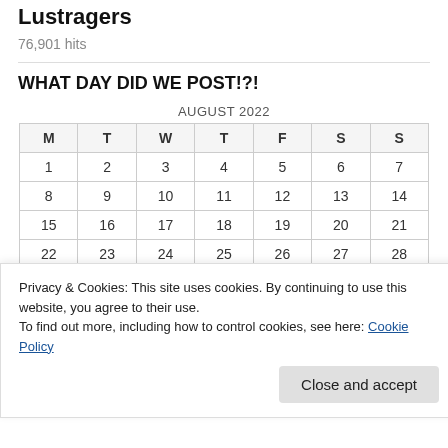Lustragers
76,901 hits
WHAT DAY DID WE POST!?!
| M | T | W | T | F | S | S |
| --- | --- | --- | --- | --- | --- | --- |
| 1 | 2 | 3 | 4 | 5 | 6 | 7 |
| 8 | 9 | 10 | 11 | 12 | 13 | 14 |
| 15 | 16 | 17 | 18 | 19 | 20 | 21 |
| 22 | 23 | 24 | 25 | 26 | 27 | 28 |
| 29 | 30 | 31 |  |  |  |  |
Privacy & Cookies: This site uses cookies. By continuing to use this website, you agree to their use.
To find out more, including how to control cookies, see here: Cookie Policy